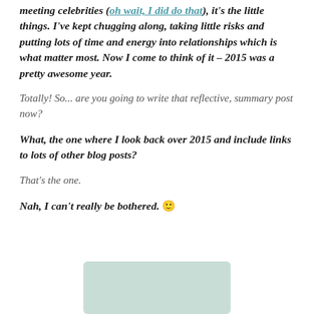meeting celebrities (oh wait, I did do that), it's the little things. I've kept chugging along, taking little risks and putting lots of time and energy into relationships which is what matter most. Now I come to think of it – 2015 was a pretty awesome year.
Totally! So... are you going to write that reflective, summary post now?
What, the one where I look back over 2015 and include links to lots of other blog posts?
That's the one.
Nah, I can't really be bothered. 🙂
[Figure (illustration): Partial view of a light green/teal decorative image at the bottom of the page]